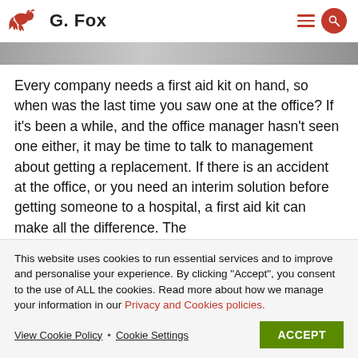G. Fox
[Figure (photo): Gray banner image strip at the top of the page content area]
Every company needs a first aid kit on hand, so when was the last time you saw one at the office? If it’s been a while, and the office manager hasn’t seen one either, it may be time to talk to management about getting a replacement. If there is an accident at the office, or you need an interim solution before getting someone to a hospital, a first aid kit can make all the difference. The
This website uses cookies to run essential services and to improve and personalise your experience. By clicking “Accept”, you consent to the use of ALL the cookies. Read more about how we manage your information in our Privacy and Cookies policies.
View Cookie Policy • Cookie Settings   ACCEPT